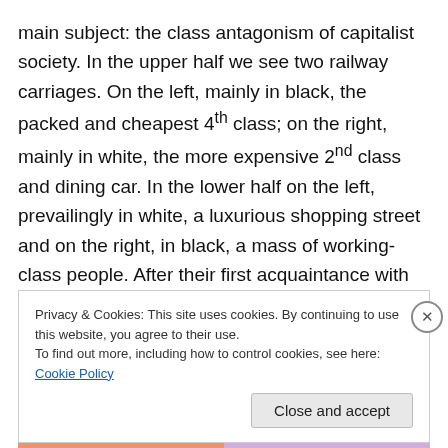main subject: the class antagonism of capitalist society. In the upper half we see two railway carriages. On the left, mainly in black, the packed and cheapest 4th class; on the right, mainly in white, the more expensive 2nd class and dining car. In the lower half on the left, prevailingly in white, a luxurious shopping street and on the right, in black, a mass of working-class people. After their first acquaintance with the work of Arntz, Neurath and Roh visited him personally, resulting in the following remark of the latter in an art magazine:
Privacy & Cookies: This site uses cookies. By continuing to use this website, you agree to their use.
To find out more, including how to control cookies, see here: Cookie Policy